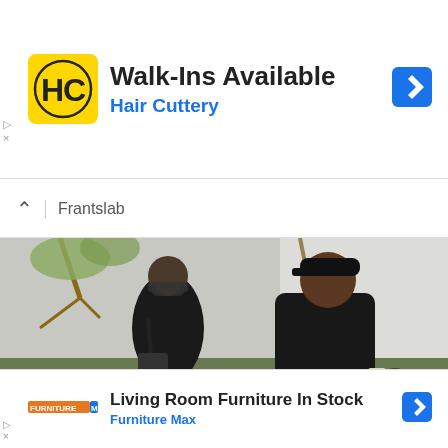[Figure (infographic): Hair Cuttery advertisement banner: yellow HC logo on left, 'Walk-Ins Available' headline in bold dark text, 'Hair Cuttery' brand name in blue, blue navigation arrow icon on right, play and X ad controls on far left.]
Frantslab
[Figure (photo): A woman in a black outfit with sunglasses and a black crossbody bag stands next to a tall man in a black T-shirt and black cap. They appear to be outdoors with greenery and a white wall in the background. The man gestures with his right hand.]
[Figure (infographic): Furniture Max advertisement banner: Furniture Max logo on left, 'Living Room Furniture In Stock' headline in bold dark text, 'Furniture Max' brand name in blue, blue navigation arrow icon on right, play and X ad controls on far left.]